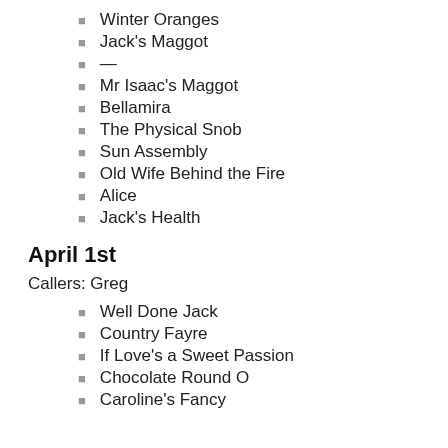Winter Oranges
Jack's Maggot
—
Mr Isaac's Maggot
Bellamira
The Physical Snob
Sun Assembly
Old Wife Behind the Fire
Alice
Jack's Health
April 1st
Callers: Greg
Well Done Jack
Country Fayre
If Love's a Sweet Passion
Chocolate Round O
Caroline's Fancy